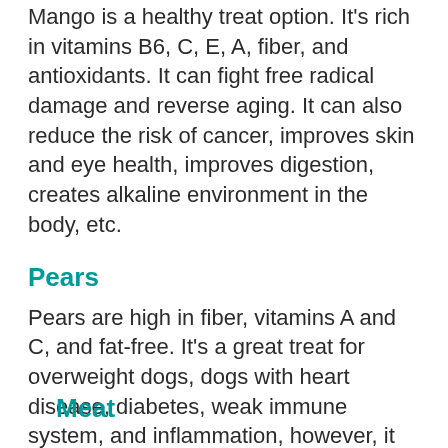Mango is a healthy treat option. It's rich in vitamins B6, C, E, A, fiber, and antioxidants. It can fight free radical damage and reverse aging. It can also reduce the risk of cancer, improves skin and eye health, improves digestion, creates alkaline environment in the body, etc.
Pears
Pears are high in fiber, vitamins A and C, and fat-free. It's a great treat for overweight dogs, dogs with heart disease, diabetes, weak immune system, and inflammation, however, it must be taken in moderation, and the seeds must also be removed.
Meat